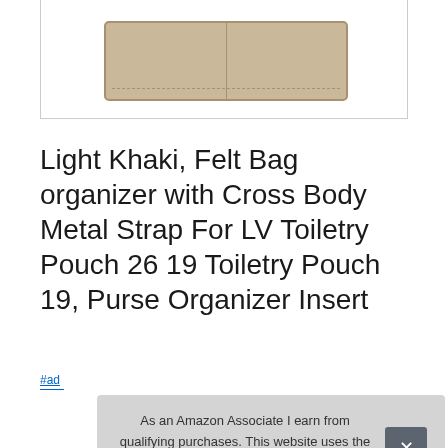[Figure (photo): Product image showing a light khaki felt bag organizer, viewed from above, with two compartments side by side separated by a divider]
Light Khaki, Felt Bag organizer with Cross Body Metal Strap For LV Toiletry Pouch 26 19 Toiletry Pouch 19, Purse Organizer Insert
#ad
As an Amazon Associate I earn from qualifying purchases. This website uses the only necessary cookies to ensure you get the best experience on our website. More information